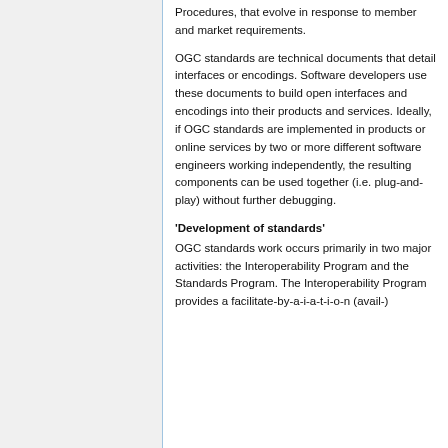Procedures, that evolve in response to member and market requirements.
OGC standards are technical documents that detail interfaces or encodings. Software developers use these documents to build open interfaces and encodings into their products and services. Ideally, if OGC standards are implemented in products or online services by two or more different software engineers working independently, the resulting components can be used together (i.e. plug-and-play) without further debugging.
'Development of standards'
OGC standards work occurs primarily in two major activities: the Interoperability Program and the Standards Program. The Interoperability Program provides a facilitate-by-a-i-a-t-i-o-n (avail-)